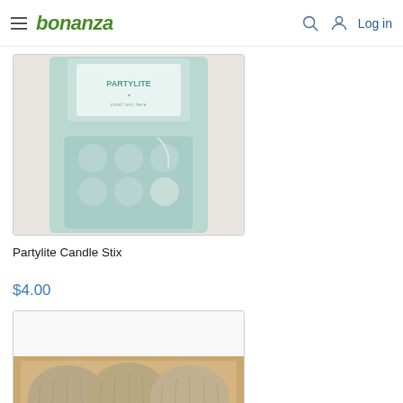bonanza — Log in
[Figure (photo): Partylite Candle Stix product in teal/mint green blister packaging, showing a grid of small round candle stix dots]
Partylite Candle Stix
$4.00
[Figure (photo): Candle holders in a cardboard box — multiple small glass/ceramic votive candle holders with textured pattern visible in a wooden crate]